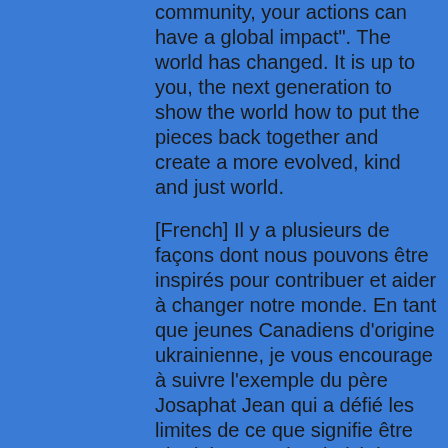community, your actions can have a global impact". The world has changed. It is up to you, the next generation to show the world how to put the pieces back together and create a more evolved, kind and just world.
[French] Il y a plusieurs de façons dont nous pouvons être inspirés pour contribuer et aider à changer notre monde. En tant que jeunes Canadiens d'origine ukrainienne, je vous encourage à suivre l'exemple du père Josaphat Jean qui a défié les limites de ce que signifie être ukrainien et qui a choisi de consacrer sa vie à défendre l'Ukraine dans le monde entier dans les différents rôles qu'il a occupés, de l'aumônier militaire au représentant diplomatique à la Ligue des Nations. Savoir qui vous êtes et ce que vous représentez est un aspect important de la vie d'un Ukrainien. Cela vous guidera tout au long de votre vie.
[English]There are so many ways which we can be inspired to contribute and help change our world. As young Ukrainian Canadians, I encourage you to follow in the footsteps of Father Josaphat Jean who challenged the limits of what it means to be Ukrainian and who chose to dedicate his life to defending Ukraine in the world in the various roles he held...